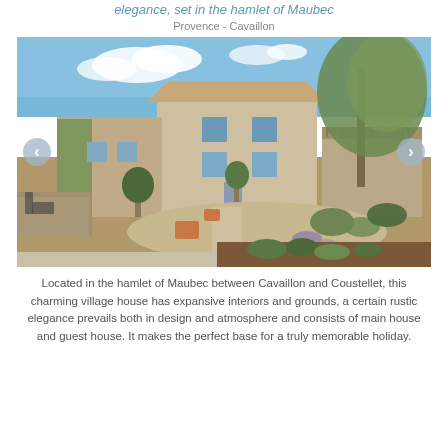elegance, set in the hamlet of Maubec
Provence - Cavaillon
[Figure (photo): Exterior view of a Provençal village house in Maubec, showing stone buildings with ivy, blue shutters, terracotta pots with plants, a large olive tree, and a landscaped courtyard garden under a partly cloudy sky.]
Located in the hamlet of Maubec between Cavaillon and Coustellet, this charming village house has expansive interiors and grounds, a certain rustic elegance prevails both in design and atmosphere and consists of main house and guest house. It makes the perfect base for a truly memorable holiday.